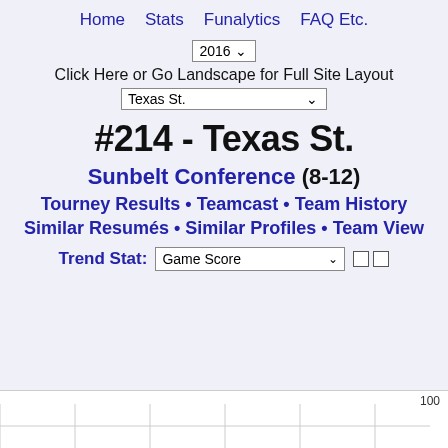Home   Stats   Funalytics   FAQ Etc.
2016 ▾
Click Here or Go Landscape for Full Site Layout
Texas St. ▾
#214 - Texas St.
Sunbelt Conference (8-12)
Tourney Results • Teamcast • Team History
Similar Resumés • Similar Profiles • Team View
Trend Stat: Game Score ▾
[Figure (other): Partial chart area with horizontal gridlines and a 100 label on right axis]